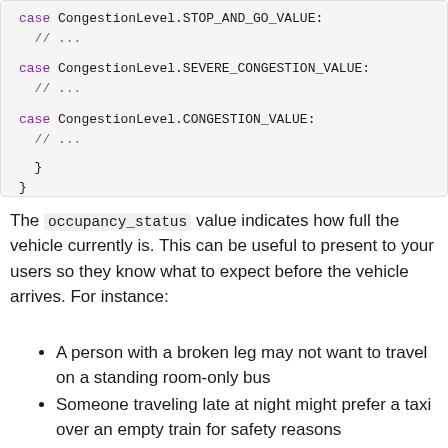[Figure (screenshot): Code block showing three case statements: case CongestionLevel.STOP_AND_GO_VALUE, case CongestionLevel.SEVERE_CONGESTION_VALUE, case CongestionLevel.CONGESTION_VALUE, each followed by // ... and closing braces]
The occupancy_status value indicates how full the vehicle currently is. This can be useful to present to your users so they know what to expect before the vehicle arrives. For instance:
A person with a broken leg may not want to travel on a standing room-only bus
Someone traveling late at night might prefer a taxi over an empty train for safety reasons